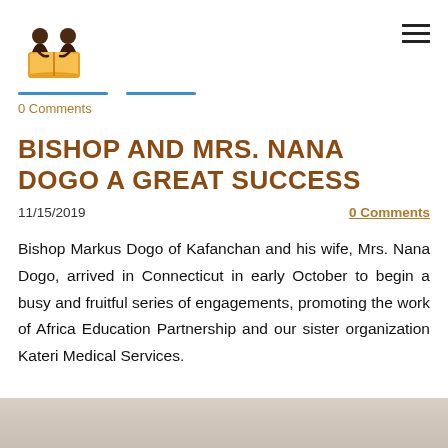[Figure (logo): Africa Education Partnership logo: two figures reading a book, orange and brown tones]
0 Comments
BISHOP AND MRS. NANA DOGO A GREAT SUCCESS
11/15/2019
0 Comments
Bishop Markus Dogo of Kafanchan and his wife, Mrs. Nana Dogo, arrived in Connecticut in early October to begin a busy and fruitful series of engagements, promoting the work of Africa Education Partnership and our sister organization Kateri Medical Services.
[Figure (photo): Partial photo strip at the bottom of the page, showing the top of an image]